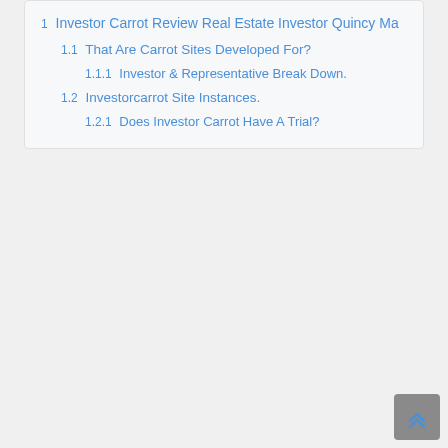1 Investor Carrot Review Real Estate Investor Quincy Ma
1.1 That Are Carrot Sites Developed For?
1.1.1 Investor & Representative Break Down.
1.2 Investorcarrot Site Instances.
1.2.1 Does Investor Carrot Have A Trial?